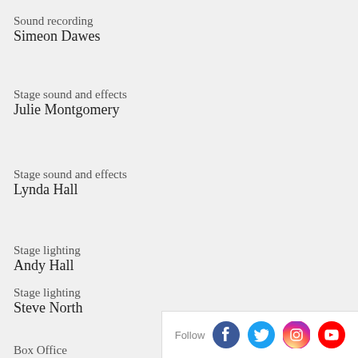Sound recording
Simeon Dawes
Stage sound and effects
Julie Montgomery
Stage sound and effects
Lynda Hall
Stage lighting
Andy Hall
Stage lighting
Steve North
Box Office
Tim Young
[Figure (infographic): Social media follow bar with Facebook, Twitter, Instagram, and YouTube icons]